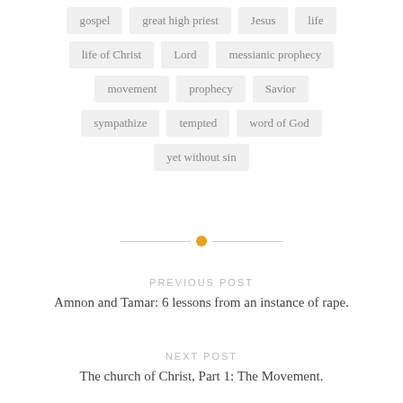gospel
great high priest
Jesus
life
life of Christ
Lord
messianic prophecy
movement
prophecy
Savior
sympathize
tempted
word of God
yet without sin
PREVIOUS POST
Amnon and Tamar: 6 lessons from an instance of rape.
NEXT POST
The church of Christ, Part 1: The Movement.